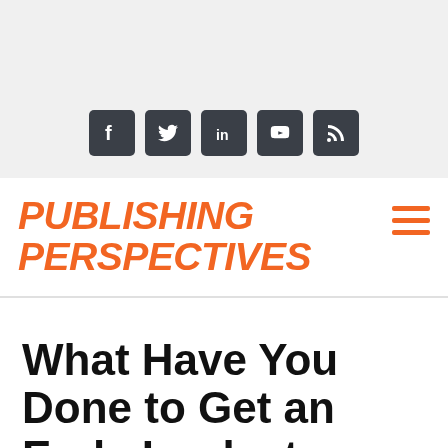[Figure (other): Social media icon bar with Facebook, Twitter, LinkedIn, YouTube, and RSS icons on a light grey background]
[Figure (logo): Publishing Perspectives logo in bold italic orange text, with hamburger menu icon in orange on the right]
What Have You Done to Get an Early Look at a Book?